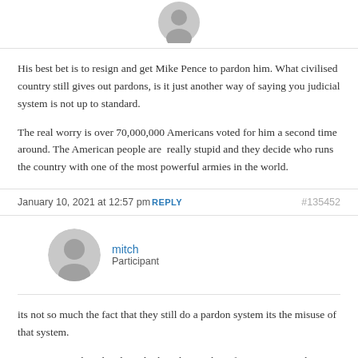[Figure (illustration): Gray avatar/profile picture icon at top of page, partially visible]
His best bet is to resign and get Mike Pence to pardon him. What civilised country still gives out pardons, is it just another way of saying you judicial system is not up to standard.

The real worry is over 70,000,000 Americans voted for him a second time around. The American people are really stupid and they decide who runs the country with one of the most powerful armies in the world.
January 10, 2021 at 12:57 pm REPLY #135452
[Figure (illustration): Gray avatar/profile picture icon for user mitch]
mitch
Participant
its not so much the fact that they still do a pardon system its the misuse of that system.

nixon was pardoned and just look at the number of trump cronies that have been pardoned, like everything